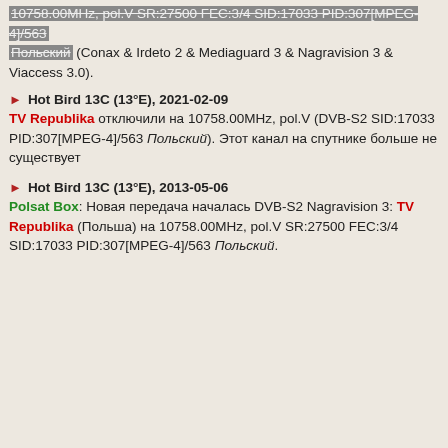10758.00MHz, pol.V SR:27500 FEC:3/4 SID:17033 PID:307[MPEG-4]/563 Польский (Conax & Irdeto 2 & Mediaguard 3 & Nagravision 3 & Viaccess 3.0).
Hot Bird 13C (13°E), 2021-02-09 TV Republika отключили на 10758.00MHz, pol.V (DVB-S2 SID:17033 PID:307[MPEG-4]/563 Польский). Этот канал на спутнике больше не существует
Hot Bird 13C (13°E), 2013-05-06 Polsat Box: Новая передача началась DVB-S2 Nagravision 3: TV Republika (Польша) на 10758.00MHz, pol.V SR:27500 FEC:3/4 SID:17033 PID:307[MPEG-4]/563 Польский.